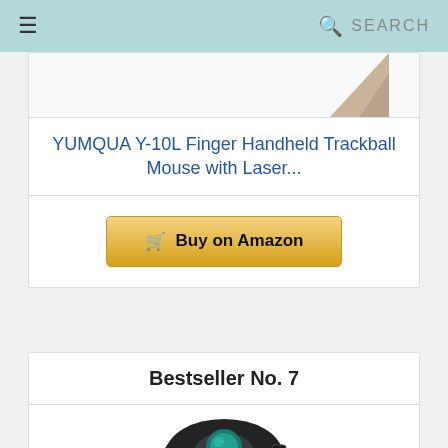≡  SEARCH
[Figure (photo): Partial product image showing corner of a handheld device with beige/tan color, top portion cut off]
YUMQUA Y-10L Finger Handheld Trackball Mouse with Laser...
Buy on Amazon
Bestseller No. 7
[Figure (photo): Black handheld finger trackball mouse with teal/green trackball, ring-style ergonomic design, shown from above]